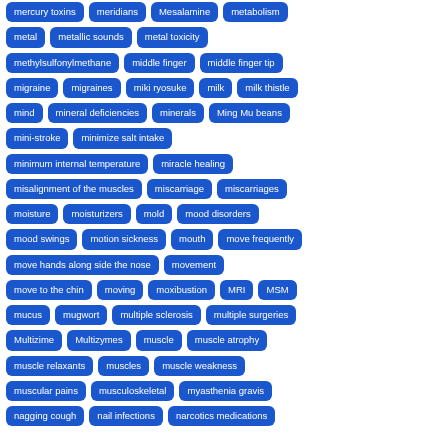[Figure (other): A tag cloud of medical and health-related terms displayed as blue rounded rectangle badges on a white background. Terms include: mercury toxins, meridians, Mesalamine, metabolism, metal, metallic sounds, metal toxicity, methylsulfonylmethane, middle finger, middle finger tip, migraine, migraines, miki ryosuke, milk, milk thistle, mind, mineral deficiencies, minerals, Ming Mu beans, mini-stroke, minimize salt intake, minimum internal temperature, miracle healing, misalignment of the muscles, miscarriage, miscarriages, moisture, moisturizers, mold, mood disorders, mood swings, motion sickness, mouth, move frequently, move hands along side the nose, movement, move to the chin, moving, moxibustion, MRI, MSM, mucus, mugwort, multiple sclerosis, multiple surgeries, Multizime, Multizymes, muscle, muscle atrophy, muscle relaxants, muscles, muscle weakness, muscular pains, musculoskeletal, myasthenia gravis, nagging cough, nail infections, narcotics medications]